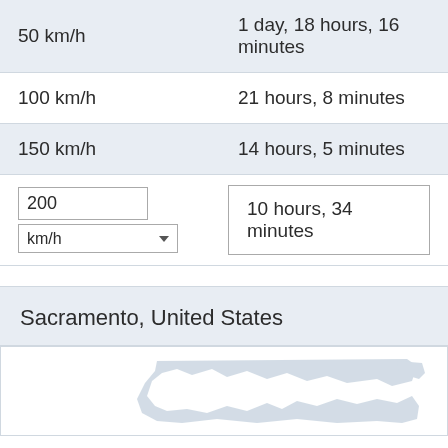| Speed | Travel Time |
| --- | --- |
| 50 km/h | 1 day, 18 hours, 16 minutes |
| 100 km/h | 21 hours, 8 minutes |
| 150 km/h | 14 hours, 5 minutes |
| 200 km/h [input] | 10 hours, 34 minutes |
Sacramento, United States
[Figure (map): Partial map showing Sacramento, United States region with gray landmass silhouette]